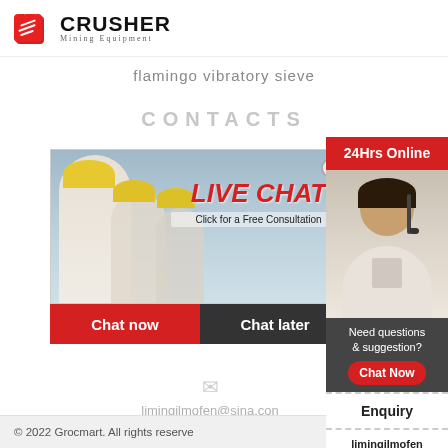[Figure (logo): Crusher Mining Equipment logo with red shopping bag icon and bold CRUSHER text]
flamingo vibratory sieve
CONTACTS
[Figure (photo): Live chat popup with workers in yellow hard hats, LIVE CHAT heading in red italic, Click for a Free Consultation text, close button, Chat now (red) and Chat later (dark) buttons, and a female customer service agent with headset on the right sidebar]
limingjlmofen@sina.com
24Hrs Online
Need questions & suggestion?
Chat Now
Enquiry
limingjlmofen@sina.com
© 2022 Grocmart. All rights reserved